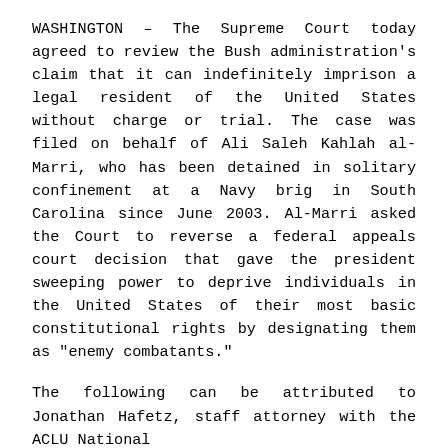WASHINGTON – The Supreme Court today agreed to review the Bush administration's claim that it can indefinitely imprison a legal resident of the United States without charge or trial. The case was filed on behalf of Ali Saleh Kahlah al-Marri, who has been detained in solitary confinement at a Navy brig in South Carolina since June 2003. Al-Marri asked the Court to reverse a federal appeals court decision that gave the president sweeping power to deprive individuals in the United States of their most basic constitutional rights by designating them as "enemy combatants."
The following can be attributed to Jonathan Hafetz, staff attorney with the ACLU National...